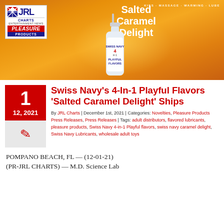[Figure (photo): Banner image showing JRL Charts Pleasure Products logo on left, orange background with caramel swirls, text 'Salted Caramel Delight' in upper center, Swiss Navy 4-in-1 Playful Flavors bottle in center, text 'KISS · MASSAGE · WARMING · LUBE' at top right]
Swiss Navy's 4-In-1 Playful Flavors 'Salted Caramel Delight' Ships
By JRL Charts | December 1st, 2021 | Categories: Novelties, Pleasure Products Press Releases, Press Releases | Tags: adult distributors, flavored lubricants, pleasure products, Swiss Navy 4-in-1 Playful flavors, swiss navy caramel delight, Swiss Navy Lubricants, wholesale adult toys
POMPANO BEACH, FL — (12-01-21) (PR-JRL CHARTS) — M.D. Science Lab